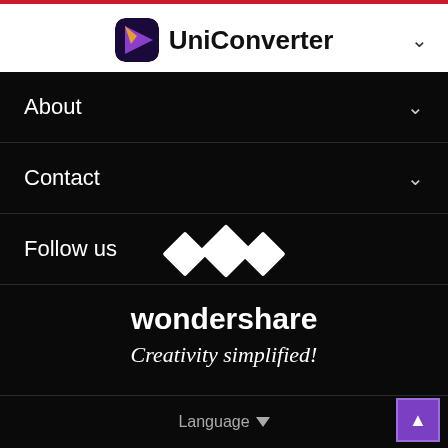UniConverter
About
Contact
Follow us
[Figure (logo): Wondershare logo with double-W geometric mark, company name 'wondershare' and tagline 'Creativity simplified!']
Language